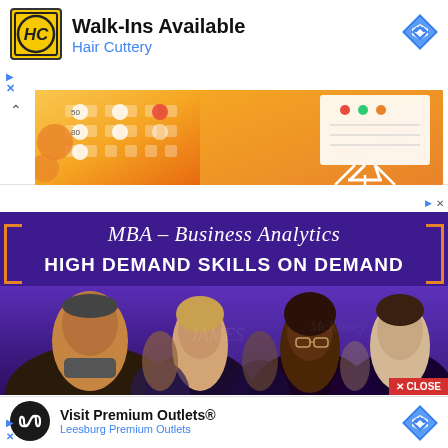[Figure (screenshot): Hair Cuttery advertisement with logo showing HC initials on yellow background, text 'Walk-Ins Available' and 'Hair Cuttery' in blue, navigation diamond icon, ad controls, collapse arrow, and orange decorative banner]
[Figure (screenshot): MBA Business Analytics advertisement with purple background, title 'MBA – Business Analytics', subtitle 'HIGH DEMAND SKILLS ON DEMAND', photo of business students/professionals, orange bracket decorations, and red CLOSE button]
[Figure (screenshot): Premium Outlets advertisement with dark circular logo, text 'Visit Premium Outlets®' and 'Leesburg Premium Outlets' in blue, navigation diamond icon, and ad controls]